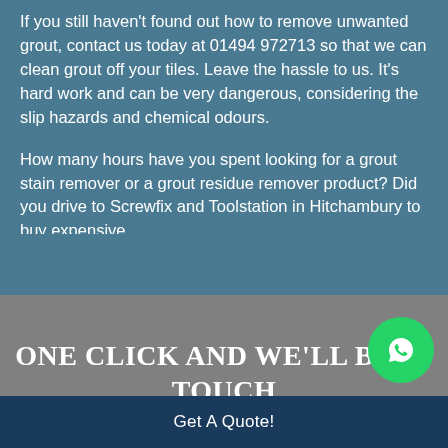If you still haven't found out how to remove unwanted grout, contact us today at 01494 972713 so that we can clean grout off your tiles. Leave the hassle to us. It's hard work and can be very dangerous, considering the slip hazards and chemical odours.
How many hours have you spent looking for a grout stain remover or a grout residue remover product? Did you drive to Screwfix and Toolstation in Hitchambury to buy expensive
One click and we'll be in touch
Get A Quote!